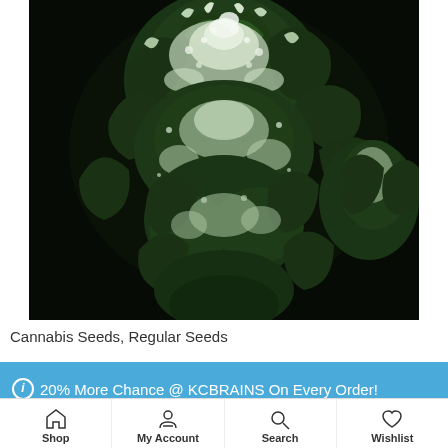[Figure (photo): Close-up photograph of cannabis plant buds with white trichomes against a black background]
Cannabis Seeds, Regular Seeds
ⓘ 20% More Chance @ KCBRAINS On Every Order!
Dismiss
5 Seeds
Shop | My Account | Search | Wishlist